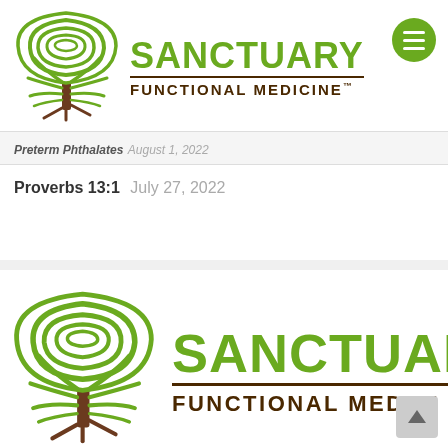[Figure (logo): Sanctuary Functional Medicine logo with green fingerprint-tree icon, green SANCTUARY text, brown horizontal rule, and brown FUNCTIONAL MEDICINE text, with green circular menu button]
Preterm Phthalates August 1, 2022
Proverbs 13:1 July 27, 2022
[Figure (logo): Sanctuary Functional Medicine logo large version, partially cropped, with green fingerprint-tree icon, green SANCTUARY text, brown rule, and brown FUNCTIONAL MEDICINE text]